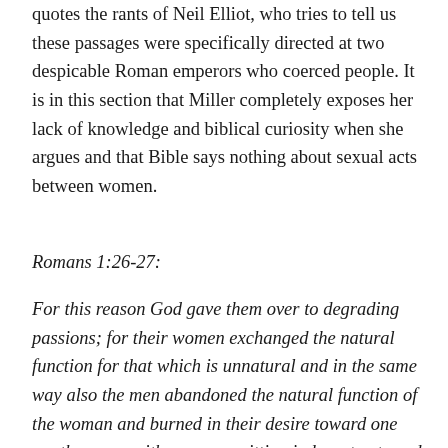quotes the rants of Neil Elliot, who tries to tell us these passages were specifically directed at two despicable Roman emperors who coerced people. It is in this section that Miller completely exposes her lack of knowledge and biblical curiosity when she argues and that Bible says nothing about sexual acts between women.
Romans 1:26-27:
For this reason God gave them over to degrading passions; for their women exchanged the natural function for that which is unnatural and in the same way also the men abandoned the natural function of the woman and burned in their desire toward one another, men with men committing indecent acts and receiving in their own persons the due penalty of their error.